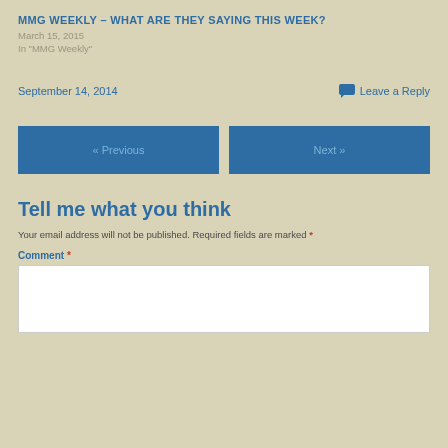MMG WEEKLY – WHAT ARE THEY SAYING THIS WEEK?
March 15, 2015
In "MMG Weekly"
September 14, 2014
Leave a Reply
« Previous
Next »
Tell me what you think
Your email address will not be published. Required fields are marked *
Comment *